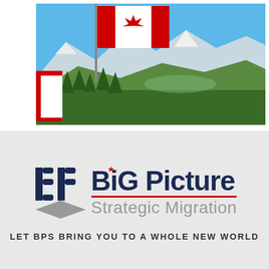[Figure (photo): Canadian flag waving in front of Rocky Mountain landscape with snow-capped peaks, green forest valley, and blue sky. A red rectangular frame element appears at lower left of the photo.]
[Figure (logo): Big Picture Strategic Migration logo: BP geometric icon in dark navy and grey on left, 'BiG Picture' in large dark navy bold text with a red maple leaf above the 'i', a red horizontal rule beneath, and 'Strategic Migration' in grey below.]
LET BPS BRING YOU TO A WHOLE NEW WORLD